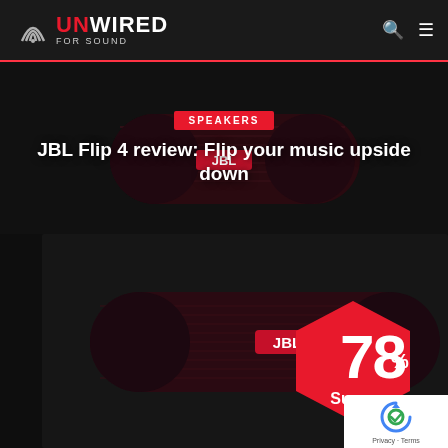[Figure (logo): Unwired For Sound logo with wifi arc icon, white and red text on dark background]
JBL Flip 4 review: Flip your music upside down
[Figure (photo): JBL Flip 4 dark red/maroon Bluetooth speaker hero image on black background with SPEAKERS badge]
[Figure (photo): JBL Flip 4 dark red/maroon speaker product photo with 78% Super score hexagon badge overlay]